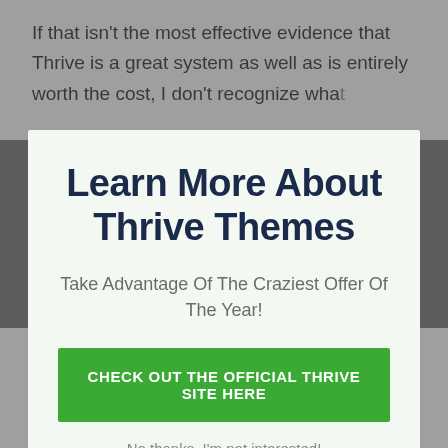If that isn't the most effective evidence that Thrive is a great system as well as is entirely worth the cost, I don't recognize what
[Figure (screenshot): Modal popup with light green background containing title 'Learn More About Thrive Themes', subtitle 'Take Advantage Of The Craziest Offer Of The Year!', a green CTA button 'CHECK OUT THE OFFICIAL THRIVE SITE HERE', and a 'No thanks, I'm not interested!' link. A white X close button appears in the top right corner of the modal overlay.]
business owner electronic marketing tools they require to drive conversions and also inevitably, earnings for their blog or site.